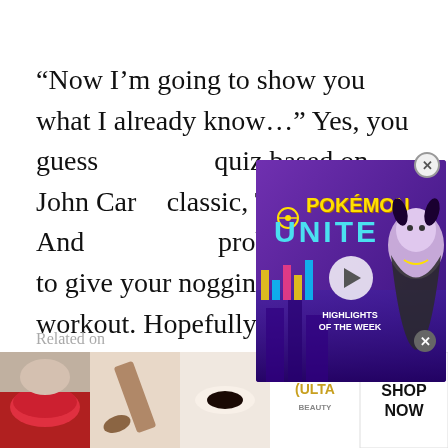“Now I’m going to show you what I already know…” Yes, you guess quiz based on John Carp classic, The Thing. And probably going to give your noggin a real workout. Hopefully not to the point that your head will want to sprout spider-legs and walk away from your body, but it’s definitely going to separate the wheat from the blood-drenched chaff.
[Figure (screenshot): Pokemon Unite video ad overlay showing logo and character]
[Figure (screenshot): Ulta Beauty advertisement banner with makeup images and SHOP NOW button]
Rel on a e